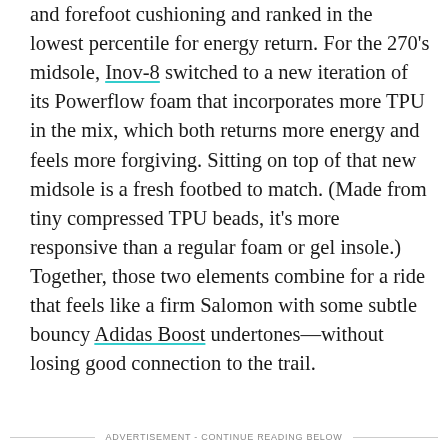and forefoot cushioning and ranked in the lowest percentile for energy return. For the 270's midsole, Inov-8 switched to a new iteration of its Powerflow foam that incorporates more TPU in the mix, which both returns more energy and feels more forgiving. Sitting on top of that new midsole is a fresh footbed to match. (Made from tiny compressed TPU beads, it's more responsive than a regular foam or gel insole.) Together, those two elements combine for a ride that feels like a firm Salomon with some subtle bouncy Adidas Boost undertones—without losing good connection to the trail.
ADVERTISEMENT - CONTINUE READING BELOW